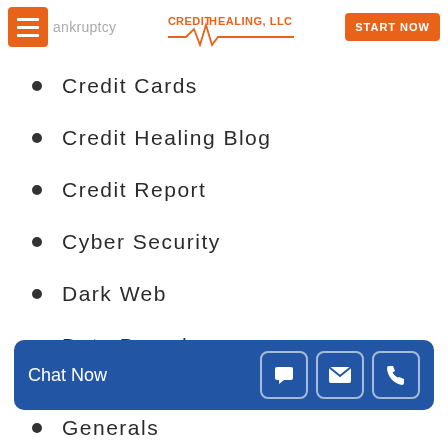Bankruptcy — CreditHealing, LLC — START NOW
Credit Cards
Credit Healing Blog
Credit Report
Cyber Security
Dark Web
Data Breach
Debt
Financial Assistance
Chat Now
Generals